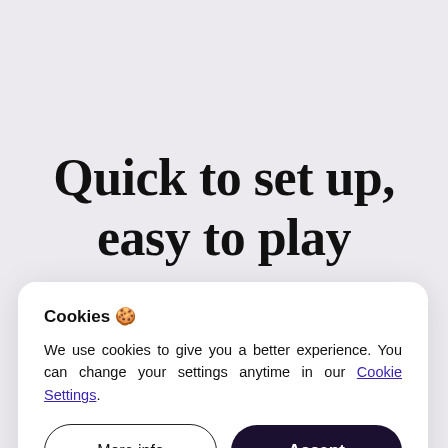Quick to set up, easy to play
Cookies 🍪
We use cookies to give you a better experience. You can change your settings anytime in our Cookie Settings.
More info
Accept